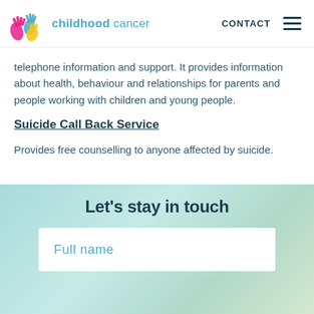childhood cancer | CONTACT
telephone information and support. It provides information about health, behaviour and relationships for parents and people working with children and young people.
Suicide Call Back Service
Provides free counselling to anyone affected by suicide.
Let's stay in touch
Full name